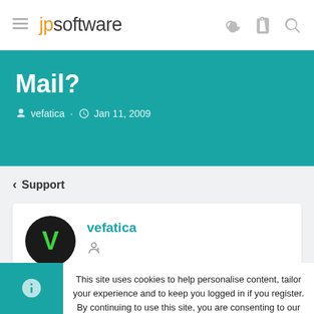jpsoftware
Mail?
vefatica · Jan 11, 2009
< Support
vefatica
This site uses cookies to help personalise content, tailor your experience and to keep you logged in if you register. By continuing to use this site, you are consenting to our use of cookies.
Accept
Learn more...